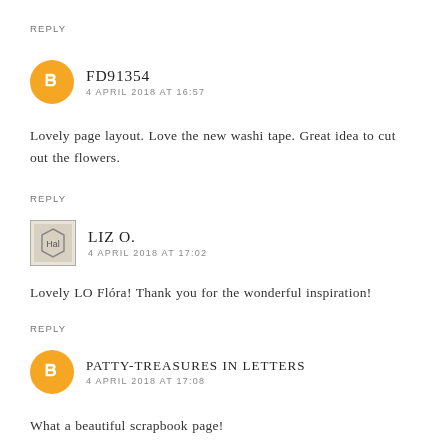REPLY
FD91354
4 APRIL 2018 AT 16:57
Lovely page layout. Love the new washi tape. Great idea to cut out the flowers.
REPLY
LIZ O.
4 APRIL 2018 AT 17:02
Lovely LO Flóra! Thank you for the wonderful inspiration!
REPLY
PATTY-TREASURES IN LETTERS
4 APRIL 2018 AT 17:08
What a beautiful scrapbook page!